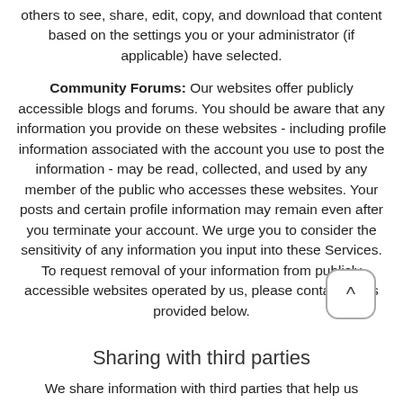others to see, share, edit, copy, and download that content based on the settings you or your administrator (if applicable) have selected.
Community Forums: Our websites offer publicly accessible blogs and forums. You should be aware that any information you provide on these websites - including profile information associated with the account you use to post the information - may be read, collected, and used by any member of the public who accesses these websites. Your posts and certain profile information may remain even after you terminate your account. We urge you to consider the sensitivity of any information you input into these Services. To request removal of your information from publicly accessible websites operated by us, please contact us as provided below.
Sharing with third parties
We share information with third parties that help us